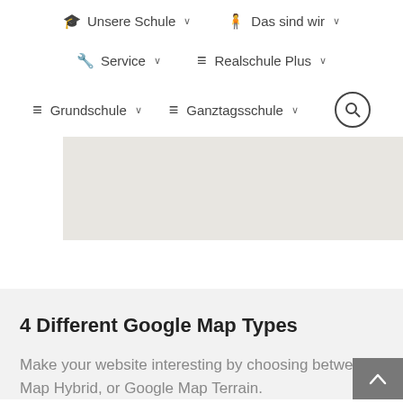🎓 Unsere Schule ∨   👤 Das sind wir ∨
🔧 Service ∨   ≡ Realschule Plus ∨
≡ Grundschule ∨   ≡ Ganztagsschule ∨   🔍
[Figure (map): Gray map placeholder band]
4 Different Google Map Types
Make your website interesting by choosing between Map Hybrid, or Google Map Terrain.